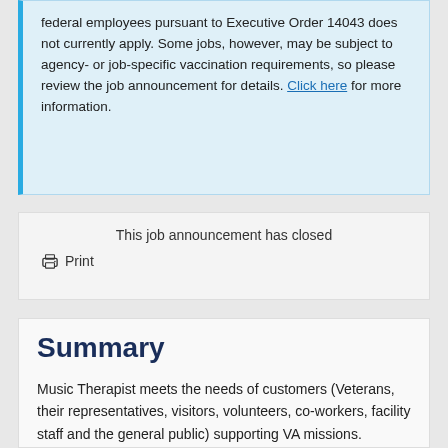federal employees pursuant to Executive Order 14043 does not currently apply. Some jobs, however, may be subject to agency- or job-specific vaccination requirements, so please review the job announcement for details. Click here for more information.
This job announcement has closed
Print
Summary
Music Therapist meets the needs of customers (Veterans, their representatives, visitors, volunteers, co-workers, facility staff and the general public) supporting VA missions. Consistently communicates